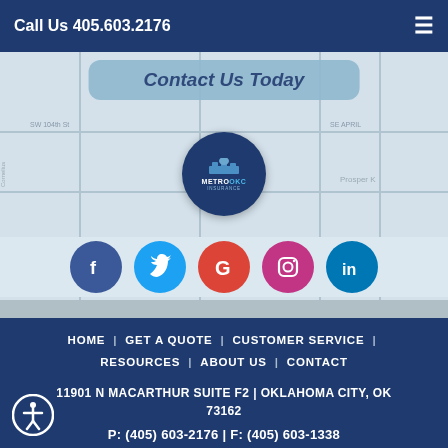Call Us 405.603.2176
[Figure (map): Google Maps view showing Oklahoma City area with MetroOKC Insurance logo overlay and a Contact Us Today button]
[Figure (illustration): Social media icons: Facebook (blue), Twitter (light blue), Google (red), Instagram (pink/magenta), LinkedIn (teal)]
HOME | GET A QUOTE | CUSTOMER SERVICE | RESOURCES | ABOUT US | CONTACT
11901 N MACARTHUR SUITE F2 | OKLAHOMA CITY, OK 73162
P: (405) 603-2176 | F: (405) 603-1338